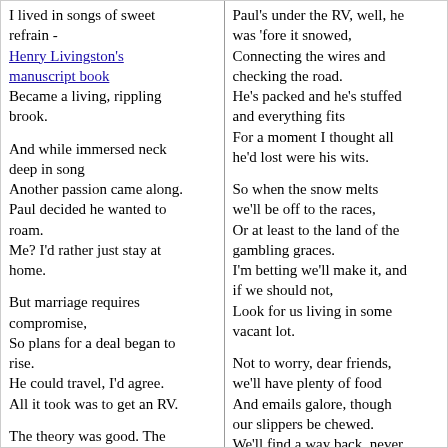I lived in songs of sweet refrain - Henry Livingston's manuscript book Became a living, rippling brook.

And while immersed neck deep in song
Another passion came along.
Paul decided he wanted to roam.
Me? I'd rather just stay at home.

But marriage requires compromise,
So plans for a deal began to rise.
He could travel, I'd agree.
All it took was to get an RV.

The theory was good. The plan took form.
And then we were parents of a motor home!
Paul's under the RV, well, he was 'fore it snowed,
Connecting the wires and checking the road.
He's packed and he's stuffed and everything fits
For a moment I thought all he'd lost were his wits.

So when the snow melts we'll be off to the races,
Or at least to the land of the gambling graces.
I'm betting we'll make it, and if we should not,
Look for us living in some vacant lot.

Not to worry, dear friends, we'll have plenty of food
And emails galore, though our slippers be chewed.
We'll find a way back, never doubt for a minute.
Our hearts in our house, not in the wheeled frigate.